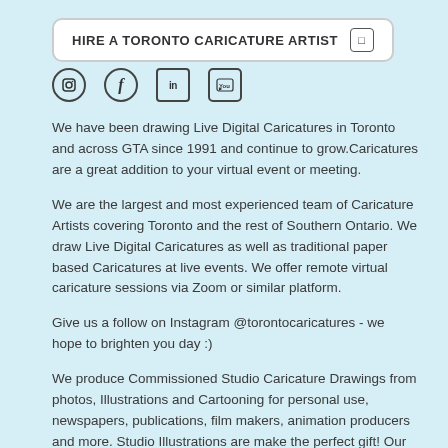HIRE A TORONTO CARICATURE ARTIST
[Figure (illustration): Social media icons: Instagram (circle), Facebook (f), LinkedIn (in), YouTube (YouTube logo)]
We have been drawing Live Digital Caricatures in Toronto and across GTA since 1991 and continue to grow.Caricatures are a great addition to your virtual event or meeting.
We are the largest and most experienced team of Caricature Artists covering Toronto and the rest of Southern Ontario. We draw Live Digital Caricatures as well as traditional paper based Caricatures at live events. We offer remote virtual caricature sessions via Zoom or similar platform.
Give us a follow on Instagram @torontocaricatures - we hope to brighten you day :)
We produce Commissioned Studio Caricature Drawings from photos, Illustrations and Cartooning for personal use, newspapers, publications, film makers, animation producers and more. Studio Illustrations are make the perfect gift! Our illustrations and caricature drawings have been used widely on screen and print media.